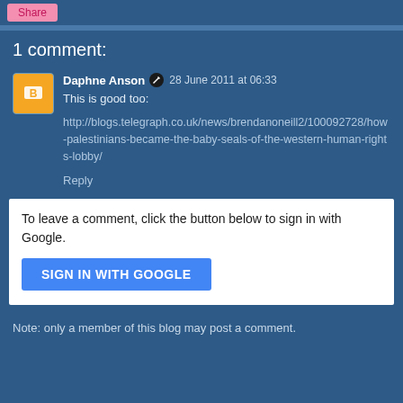1 comment:
Daphne Anson  28 June 2011 at 06:33
This is good too:

http://blogs.telegraph.co.uk/news/brendanoneill2/100092728/how-palestinians-became-the-baby-seals-of-the-western-human-rights-lobby/

Reply
To leave a comment, click the button below to sign in with Google.
SIGN IN WITH GOOGLE
Note: only a member of this blog may post a comment.